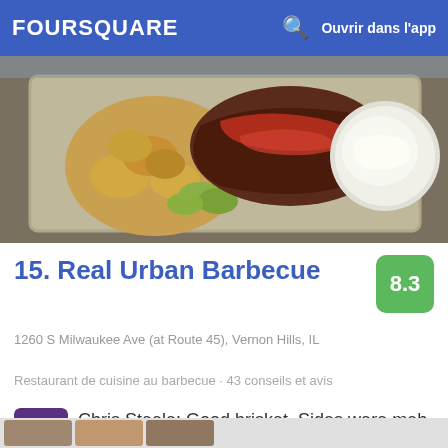FOURSQUARE   Ouvrir dans l'app
[Figure (photo): Close-up photo of a BBQ meal on a metal tray showing roasted potatoes, grilled zucchini, smoked brisket with red sauce, and a bowl of creamy mashed potatoes]
15. Real Urban Barbecue
8.3
1260 S Milwaukee Ave (at Route 45), Vernon Hills, IL
Restaurant de cuisine au barbecue · 43 conseils et avis
[Figure (photo): Small square avatar photo of reviewer Chris Steele showing a person with purple background]
Chris Steele: Good brisket. Sides were meh. Will try ordering a side of extra brisket next time.